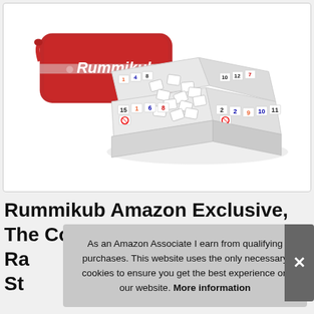[Figure (photo): Photo of Rummikub board game set with red carrying bag labeled 'Rummikub', white tile racks arranged in a square with numbered tiles displayed on them, and loose tiles scattered in the center.]
Rummikub Amazon Exclusive, The Complete Rummikub Game with Racks, Numbers Tiles, Joker Tiles, Pouch Storage, Number of Players 2-4, Age 8+
As an Amazon Associate I earn from qualifying purchases. This website uses the only necessary cookies to ensure you get the best experience on our website. More information